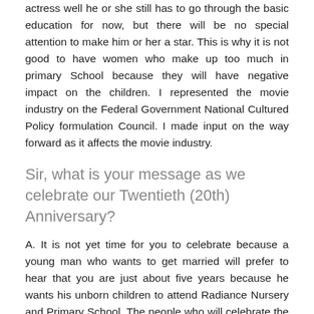actress well he or she still has to go through the basic education for now, but there will be no special attention to make him or her a star. This is why it is not good to have women who make up too much in primary School because they will have negative impact on the children. I represented the movie industry on the Federal Government National Cultured Policy formulation Council. I made input on the way forward as it affects the movie industry.
Sir, what is your message as we celebrate our Twentieth (20th) Anniversary?
A. It is not yet time for you to celebrate because a young man who wants to get married will prefer to hear that you are just about five years because he wants his unborn children to attend Radiance Nursery and Primary School. The people who will celebrate the school are still in the making. I mean that the products of the School are the ones that will celebrate the school when they start to hold position of authority in this country, but for we the parents, we will celebrate with the school on what is on the ground. Like I said before, if you go to Bells Secondary School, Ota, my three daughters name are ringing bell because of their academic